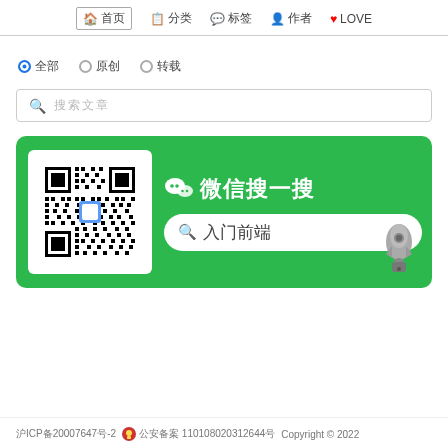🏠 首页  📋 分类  💬 标签  👤 作者  ♥ LOVE
● 全部  ○ 原创  ○ 转载
🔍 搜索文章
[Figure (infographic): WeChat QR code banner with green background, QR code on left, WeChat logo and text '微信搜一搜' on right with search bar showing '入门前端']
沪ICP备20007647号-2  公安备案 110108020312644号  Copyright © 2022